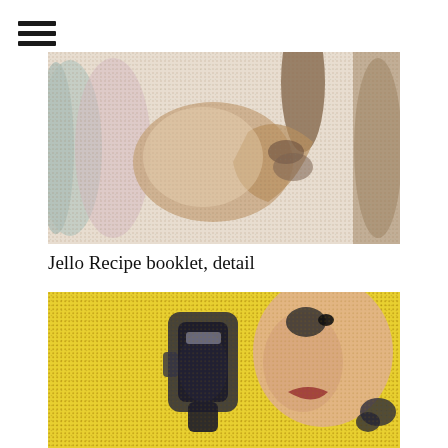[Figure (illustration): Hamburger menu icon (three horizontal lines)]
[Figure (photo): Close-up detail of a Jello Recipe booklet illustration showing hands, rendered in vintage halftone printing style with pastel colors on cream/beige background]
Jello Recipe booklet, detail
[Figure (photo): Close-up detail of a vintage halftone illustration showing a person's face and what appears to be a kitchen appliance or can opener, on a yellow halftone background]